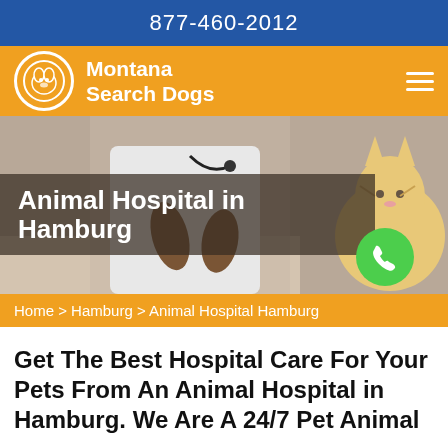877-460-2012
Montana Search Dogs
[Figure (photo): Hero image showing a veterinarian in a white coat examining a cat, with overlay text 'Animal Hospital in Hamburg' and a green phone button]
Animal Hospital in Hamburg
Home > Hamburg > Animal Hospital Hamburg
Get The Best Hospital Care For Your Pets From An Animal Hospital in Hamburg. We Are A 24/7 Pet Animal